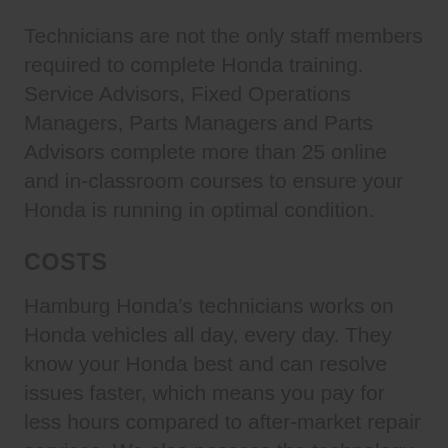Technicians are not the only staff members required to complete Honda training. Service Advisors, Fixed Operations Managers, Parts Managers and Parts Advisors complete more than 25 online and in-classroom courses to ensure your Honda is running in optimal condition.
COSTS
Hamburg Honda’s technicians works on Honda vehicles all day, every day. They know your Honda best and can resolve issues faster, which means you pay for less hours compared to after-market repair services. We also possess the technology to facilitate diagnosis and identify an issue’s root cause. This technology includes: